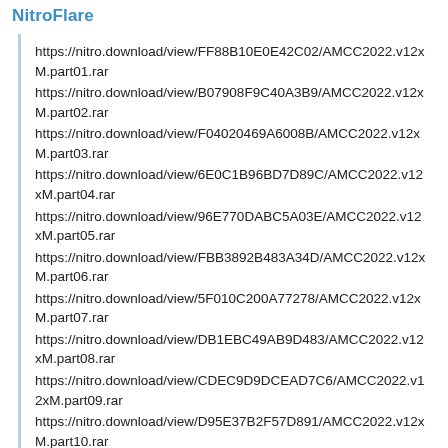NitroFlare
https://nitro.download/view/FF88B10E0E42C02/AMCC2022.v12xM.part01.rar
https://nitro.download/view/B07908F9C40A3B9/AMCC2022.v12xM.part02.rar
https://nitro.download/view/F04020469A6008B/AMCC2022.v12xM.part03.rar
https://nitro.download/view/6E0C1B96BD7D89C/AMCC2022.v12xM.part04.rar
https://nitro.download/view/96E770DABC5A03E/AMCC2022.v12xM.part05.rar
https://nitro.download/view/FBB3892B483A34D/AMCC2022.v12xM.part06.rar
https://nitro.download/view/5F010C200A77278/AMCC2022.v12xM.part07.rar
https://nitro.download/view/DB1EBC49AB9D483/AMCC2022.v12xM.part08.rar
https://nitro.download/view/CDEC9D9DCEAD7C6/AMCC2022.v12xM.part09.rar
https://nitro.download/view/D95E37B2F57D891/AMCC2022.v12xM.part10.rar
https://nitro.download/view/A72C89BF2A6FD84/AMCC2022.v12xM.part1